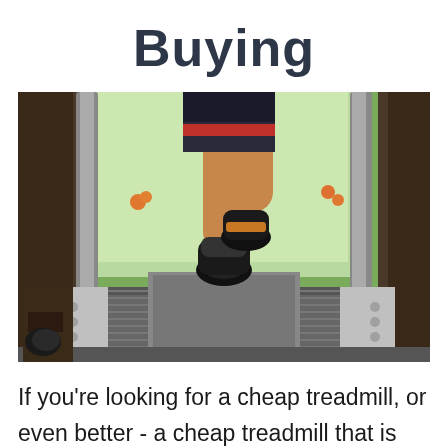Buying
[Figure (photo): Close-up rear view of a person running on a treadmill in a gym, showing the legs and running shoes mid-stride. The treadmill belt and side rails are visible, with a green outdoor garden/park scene visible through large windows in the background.]
If you're looking for a cheap treadmill, or even better - a cheap treadmill that is actually worth